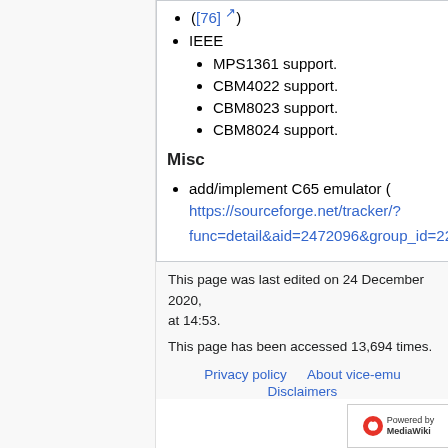([76])
IEEE
MPS1361 support.
CBM4022 support.
CBM8023 support.
CBM8024 support.
Misc
add/implement C65 emulator ( https://sourceforge.net/tracker/?func=detail&aid=2472096&group_id=223021&atid=1057620 )
This page was last edited on 24 December 2020, at 14:53.
This page has been accessed 13,694 times.
Privacy policy   About vice-emu   Disclaimers